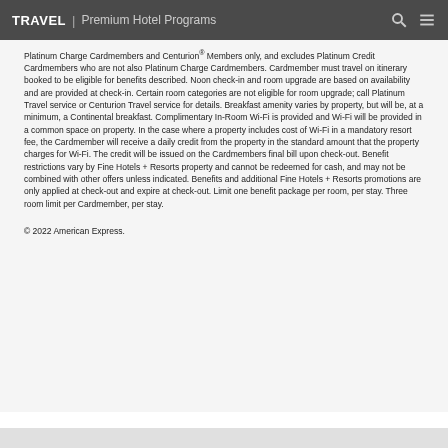TRAVEL | Premium Hotel Programs
Platinum Charge Cardmembers and Centurion® Members only, and excludes Platinum Credit Cardmembers who are not also Platinum Charge Cardmembers. Cardmember must travel on itinerary booked to be eligible for benefits described. Noon check-in and room upgrade are based on availability and are provided at check-in. Certain room categories are not eligible for room upgrade; call Platinum Travel service or Centurion Travel service for details. Breakfast amenity varies by property, but will be, at a minimum, a Continental breakfast. Complimentary In-Room Wi-Fi is provided and Wi-Fi will be provided in a common space on property. In the case where a property includes cost of Wi-Fi in a mandatory resort fee, the Cardmember will receive a daily credit from the property in the standard amount that the property charges for Wi-Fi. The credit will be issued on the Cardmembers final bill upon check-out. Benefit restrictions vary by Fine Hotels + Resorts property and cannot be redeemed for cash, and may not be combined with other offers unless indicated. Benefits and additional Fine Hotels + Resorts promotions are only applied at check-out and expire at check-out. Limit one benefit package per room, per stay. Three room limit per Cardmember, per stay.
© 2022 American Express.